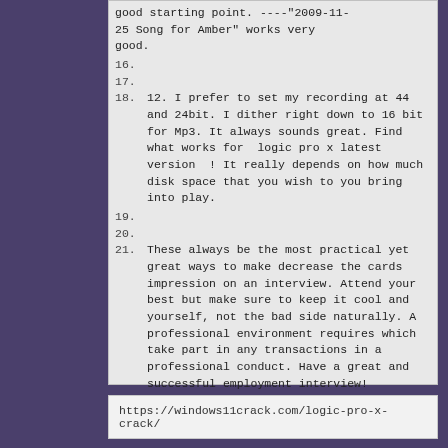good starting point. ----"2009-11-25 Song for Amber" works very good.
16.
17.
18. 12. I prefer to set my recording at 44 and 24bit. I dither right down to 16 bit for Mp3. It always sounds great. Find what works for logic pro x latest version ! It really depends on how much disk space that you wish to you bring into play.
19.
20.
21. These always be the most practical yet great ways to make decrease the cards impression on an interview. Attend your best but make sure to keep it cool and yourself, not the bad side naturally. A professional environment requires which take part in any transactions in a professional conduct. Have a great and successful employment interview!
22.
https://windows11crack.com/logic-pro-x-crack/